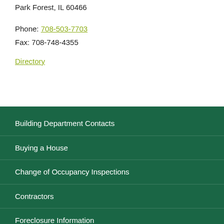Park Forest, IL 60466
Phone: 708-503-7703
Fax: 708-748-4355
Directory
Building Department Contacts
Buying a House
Change of Occupancy Inspections
Contractors
Foreclosure Information